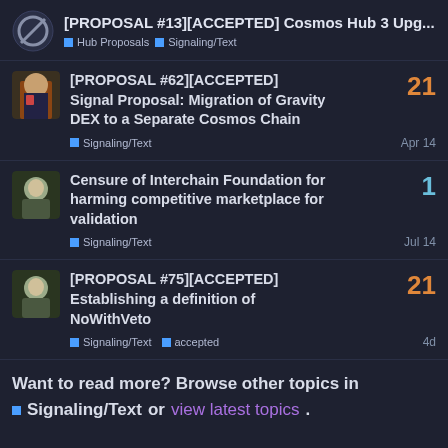[PROPOSAL #13][ACCEPTED] Cosmos Hub 3 Upg... Hub Proposals Signaling/Text
[PROPOSAL #62][ACCEPTED] Signal Proposal: Migration of Gravity DEX to a Separate Cosmos Chain
Signaling/Text
Apr 14
Replies: 21
Censure of Interchain Foundation for harming competitive marketplace for validation
Signaling/Text
Jul 14
Replies: 1
[PROPOSAL #75][ACCEPTED] Establishing a definition of NoWithVeto
Signaling/Text accepted
4d
Replies: 21
Want to read more? Browse other topics in Signaling/Text or view latest topics.